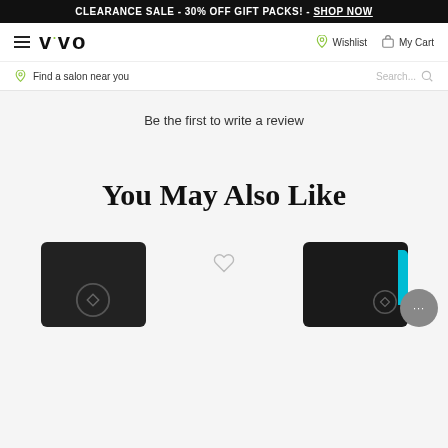CLEARANCE SALE - 30% OFF GIFT PACKS! - SHOP NOW
[Figure (logo): VIVO brand logo with hamburger menu, wishlist and cart icons in navigation bar]
Find a salon near you
Be the first to write a review
You May Also Like
[Figure (photo): Two product images side by side - left: black cylindrical product, right: black product with teal accent, center wishlist heart icon, bottom-right chat bubble with ellipsis]